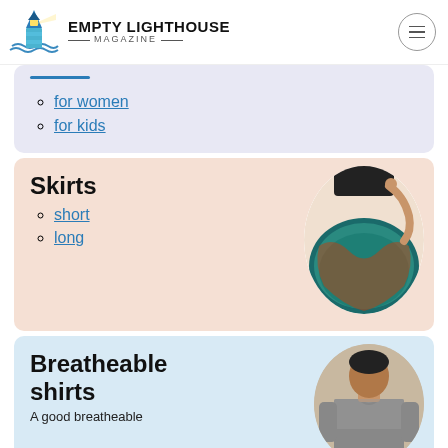Empty Lighthouse Magazine
for women
for kids
Skirts
short
long
[Figure (photo): Person wearing a flowing teal and red boho skirt, holding it up]
Breatheable shirts
A good breatheable
[Figure (photo): Man wearing a grey breathable t-shirt]